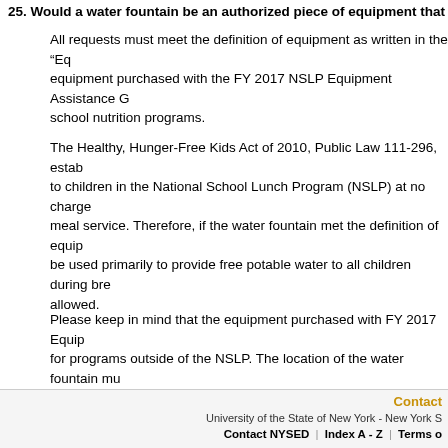25. Would a water fountain be an authorized piece of equipment that m...
All requests must meet the definition of equipment as written in the “Eq... equipment purchased with the FY 2017 NSLP Equipment Assistance G... school nutrition programs.
The Healthy, Hunger-Free Kids Act of 2010, Public Law 111-296, estab... to children in the National School Lunch Program (NSLP) at no charge... meal service. Therefore, if the water fountain met the definition of equip... be used primarily to provide free potable water to all children during bre... allowed.
Please keep in mind that the equipment purchased with FY 2017 Equip... for programs outside of the NSLP. The location of the water fountain mu... to the meal service area. The water fountain must be able to provide un... period to be eligible.
Contact | University of the State of New York - New York S... | Contact NYSED | Index A - Z | Terms o...